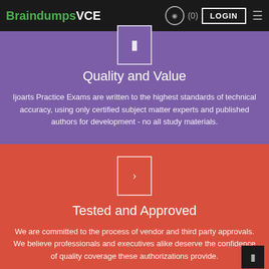BraindumpsVCE  (0)  LOGIN
[Figure (other): Icon box with document/file symbol on purple background]
Quality and Value
Ijoarts Practice Exams are written to the highest standards of technical accuracy, using only certified subject matter experts and published authors for development - no all study materials.
[Figure (other): Icon box with bookmark/tag symbol on red background]
Tested and Approved
We are committed to the process of vendor and third party approvals. We believe professionals and executives alike deserve the confidence of quality coverage these authorizations provide.